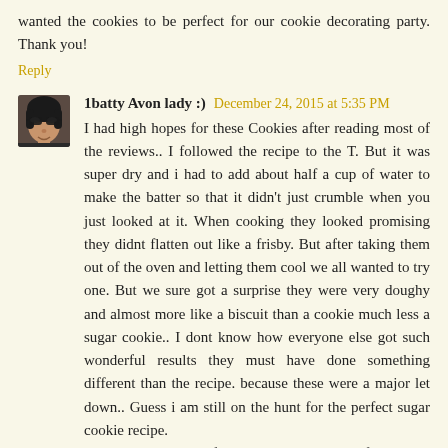wanted the cookies to be perfect for our cookie decorating party. Thank you!
Reply
1batty Avon lady :)  December 24, 2015 at 5:35 PM
I had high hopes for these Cookies after reading most of the reviews.. I followed the recipe to the T. But it was super dry and i had to add about half a cup of water to make the batter so that it didn't just crumble when you just looked at it. When cooking they looked promising they didnt flatten out like a frisby. But after taking them out of the oven and letting them cool we all wanted to try one. But we sure got a surprise they were very doughy and almost more like a biscuit than a cookie much less a sugar cookie.. I dont know how everyone else got such wonderful results they must have done something different than the recipe. because these were a major let down.. Guess i am still on the hunt for the perfect sugar cookie recipe.
Also we are In the front range mountains of Northern COlorado at about 7200 feet.
Reply